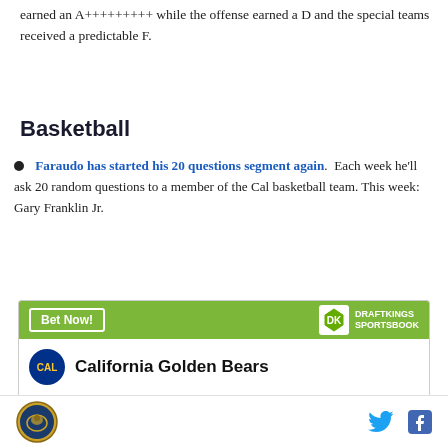earned an A+++++++++ while the offense earned a D and the special teams received a predictable F.
Basketball
Faraudo has started his 20 questions segment again. Each week he'll ask 20 random questions to a member of the Cal basketball team. This week: Gary Franklin Jr.
[Figure (infographic): DraftKings Sportsbook widget showing California Golden Bears odds: To win National Championship +60000]
Cal Bears logo, Twitter icon, Facebook icon